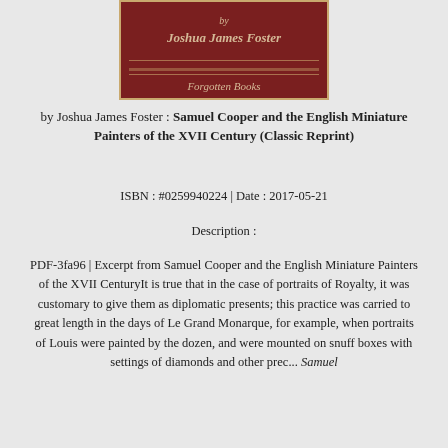[Figure (illustration): Book cover with dark red/maroon background showing author name 'by Joshua James Foster' and publisher 'Forgotten Books' in ornate lettering]
by Joshua James Foster : Samuel Cooper and the English Miniature Painters of the XVII Century (Classic Reprint)
ISBN : #0259940224 | Date : 2017-05-21
Description :
PDF-3fa96 | Excerpt from Samuel Cooper and the English Miniature Painters of the XVII CenturyIt is true that in the case of portraits of Royalty, it was customary to give them as diplomatic presents; this practice was carried to great length in the days of Le Grand Monarque, for example, when portraits of Louis were painted by the dozen, and were mounted on snuff boxes with settings of diamonds and other prec... Samuel